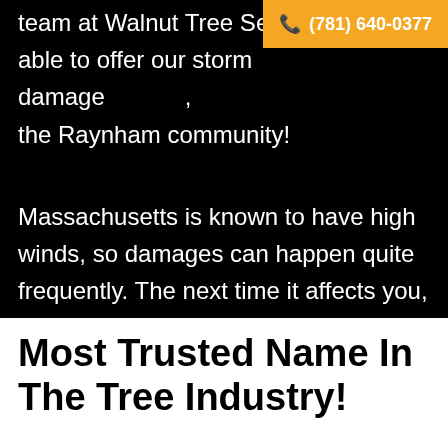team at Walnut Tree Service is able to offer our storm damage … the Raynham community!
(781) 640-0377
Massachusetts is known to have high winds, so damages can happen quite frequently. The next time it affects you, let us help you resolve the issue.
Most Trusted Name In The Tree Industry!